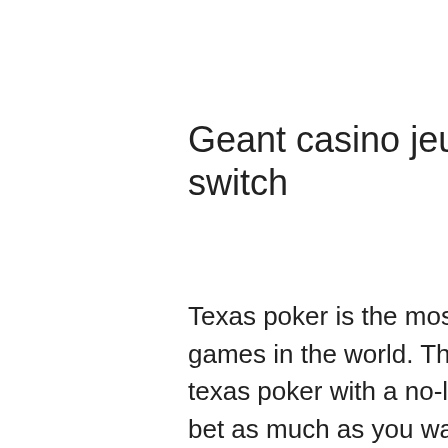Geant casino jeux video switch
Texas poker is the most popular style used in the biggest games in the world. The world series of poker features texas poker with a no-limit variation. This means you can bet as much as you want without any restrictions. In this game mode, you get two cards in your hand and try to use the five cards in the middle to create a stronger hand, geant casino jeux video switch. Another great online poker US type is Omaha. Downloadable software is mostly limited to Microgaming powered casinos, with our favourites being All Slots Casino , Royal Vegas Casino and Jackpot City Casino, geant casino jeux video switch. If you are fortunate to be in...